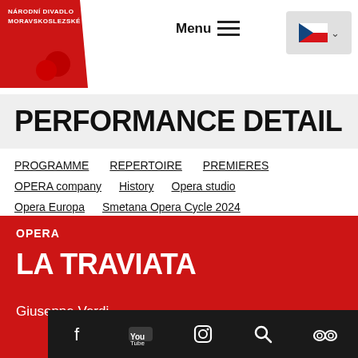[Figure (logo): Národní Divadlo Moravskoslezské red diagonal logo with white text and red circle]
Menu  [hamburger icon]  [Czech flag dropdown]
PERFORMANCE DETAIL
PROGRAMME
REPERTOIRE
PREMIERES
OPERA company
History
Opera studio
Opera Europa
Smetana Opera Cycle 2024
Terezín Opera Cycle
OPERA
LA TRAVIATA
Giuseppe Verdi